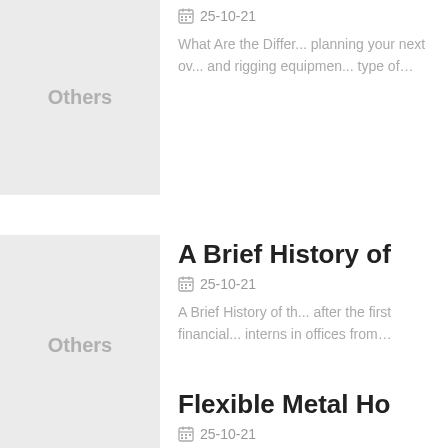[Figure (other): Gray placeholder image with text 'Others']
25-10-21
What Are the Differ... planning your next ov... and rigging equipmen... type of…
[Figure (other): Gray placeholder image with text 'Others']
A Brief History of
25-10-21
A Brief History of th... after the first financial... interns in offices from…
[Figure (other): Gray placeholder image (partial)]
Flexible Metal Ho
25-10-21